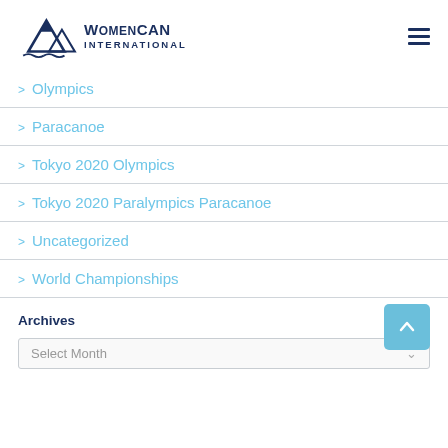WomenCAN International
> Olympics
> Paracanoe
> Tokyo 2020 Olympics
> Tokyo 2020 Paralympics Paracanoe
> Uncategorized
> World Championships
Archives
Select Month